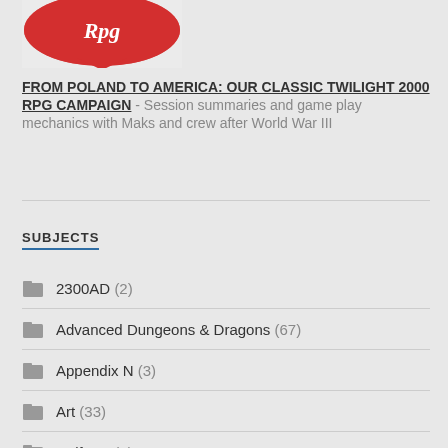[Figure (illustration): Red logo/image at top of page]
FROM POLAND TO AMERICA: OUR CLASSIC TWILIGHT 2000 RPG CAMPAIGN - Session summaries and game play mechanics with Maks and crew after World War III
SUBJECTS
2300AD (2)
Advanced Dungeons & Dragons (67)
Appendix N (3)
Art (33)
Artifacts (2)